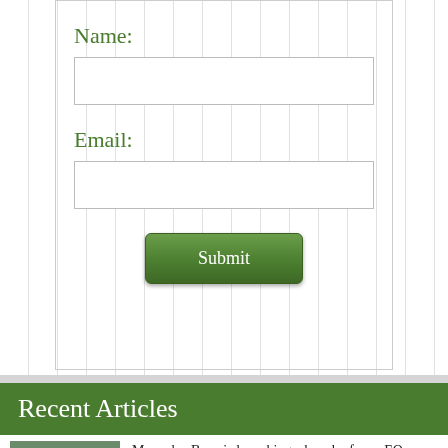Name:
[Figure (other): Empty text input field for Name]
Email:
[Figure (other): Empty text input field for Email]
[Figure (other): Submit button with green gradient background]
Recent Articles
Mercedes-Benz is launching a bunch of new EQ vehicles for the 2023 model year, including...